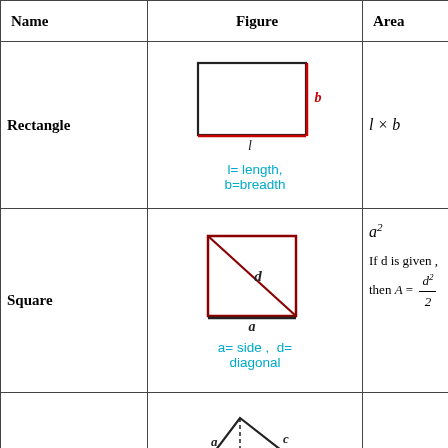| Name | Figure | Area |
| --- | --- | --- |
| Rectangle | Rectangle figure with l and b labels; l= length, b=breadth | l × b |
| Square | Square figure with a and d labels; a= side, d= diagonal | a²
If d is given, then A = d²/2 |
| (partial) | Triangle figure with a, b, c, h labels | (i) ½ × b × h |